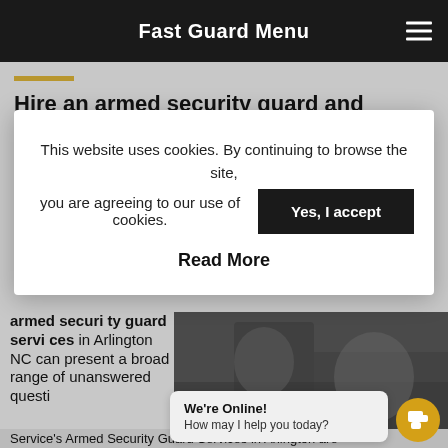Fast Guard Menu
Hire an armed security guard and protect your business or event from threats
This website uses cookies. By continuing to browse the site, you are agreeing to our use of cookies.   Yes, I accept   Read More
armed security guard services in Arlington NC can present a broad range of unanswered questions...Service's Armed Security Guard Services in Arlington are
[Figure (photo): Grayscale photo of an armed security guard]
We're Online! How may I help you today?